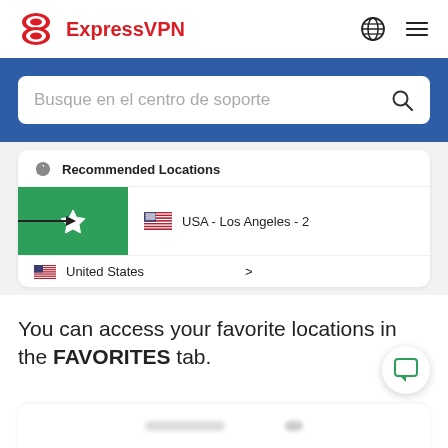[Figure (logo): ExpressVPN logo with red icon and red text 'ExpressVPN']
Busque en el centro de soporte
[Figure (screenshot): ExpressVPN app screenshot showing Recommended Locations with USA - Los Angeles - 2 highlighted in green with a star button and an arrow pointing to it, and United States listed below]
You can access your favorite locations in the FAVORITES tab.